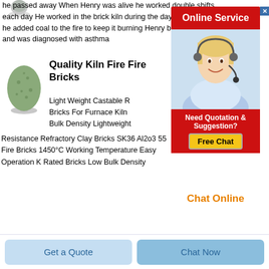[Figure (photo): Small grey object/material sample on white background, top left]
he passed away When Henry was alive he worked double shifts each day He worked in the brick kiln during the day and at night he added coal to the fire to keep it burning Henry became sick and was diagnosed with asthma
[Figure (infographic): Online Service advertisement banner with red background and white text, with a female customer service agent wearing a headset, and a Need Quotation & Suggestion / Free Chat / Chat Online panel]
[Figure (photo): Green granular material/powder product image]
Quality Kiln Fire Fire Bricks
Light Weight Castable R
Bricks For Furnace Kiln
Bulk Density Lightweight
Resistance Refractory Clay Bricks SK36 Al2o3 55 Fire Bricks 1450°C Working Temperature Easy Operation K Rated Bricks Low Bulk Density
Get a Quote
Chat Now